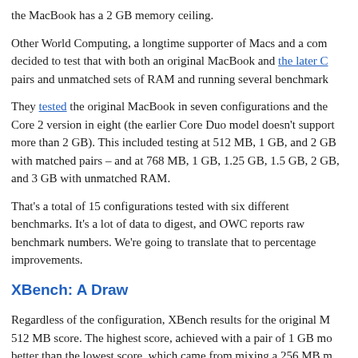the MacBook has a 2 GB memory ceiling.
Other World Computing, a longtime supporter of Macs and a com decided to test that with both an original MacBook and the later C pairs and unmatched sets of RAM and running several benchmark
They tested the original MacBook in seven configurations and the Core 2 version in eight (the earlier Core Duo model doesn't support more than 2 GB). This included testing at 512 MB, 1 GB, and 2 GB with matched pairs – and at 768 MB, 1 GB, 1.25 GB, 1.5 GB, 2 GB, and 3 GB with unmatched RAM.
That's a total of 15 configurations tested with six different benchmarks. It's a lot of data to digest, and OWC reports raw benchmark numbers. We're going to translate that to percentage improvements.
XBench: A Draw
Regardless of the configuration, XBench results for the original M 512 MB score. The highest score, achieved with a pair of 1 GB mo better than the lowest score, which came from mixing a 256 MB m